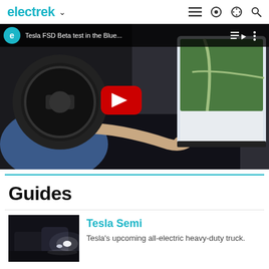electrek
[Figure (screenshot): YouTube video thumbnail showing Tesla FSD Beta test in the Blue... with Tesla Model 3 interior view, steering wheel, touchscreen with map navigation visible, and red YouTube play button overlay]
Guides
[Figure (photo): Tesla Semi truck at night with bright headlights]
Tesla Semi
Tesla's upcoming all-electric heavy-duty truck.